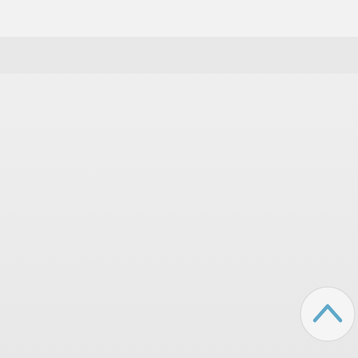Re: Mrs. Hold Made
Re: Mrs. Hold Ma
Re: Mrs. Hold
Re: Mrs. Ho
Re: Mrs.
Re: Mr
Re:
R
[Figure (screenshot): Scroll-up navigation button (chevron up arrow in a circle)]